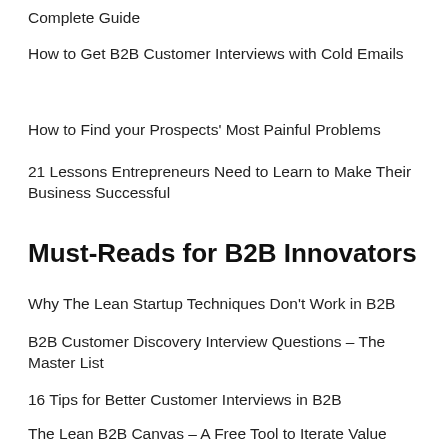Complete Guide
How to Get B2B Customer Interviews with Cold Emails
How to Find your Prospects' Most Painful Problems
21 Lessons Entrepreneurs Need to Learn to Make Their Business Successful
Must-Reads for B2B Innovators
Why The Lean Startup Techniques Don't Work in B2B
B2B Customer Discovery Interview Questions – The Master List
16 Tips for Better Customer Interviews in B2B
The Lean B2B Canvas – A Free Tool to Iterate Value